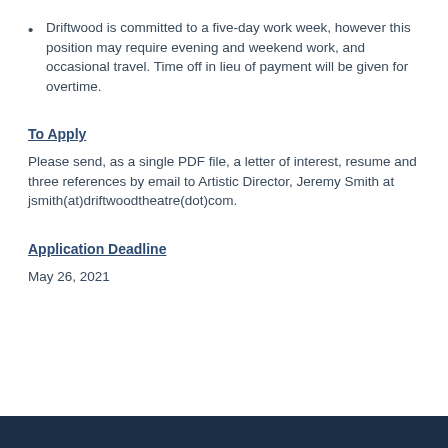Driftwood is committed to a five-day work week, however this position may require evening and weekend work, and occasional travel. Time off in lieu of payment will be given for overtime.
To Apply
Please send, as a single PDF file, a letter of interest, resume and three references by email to Artistic Director, Jeremy Smith at jsmith(at)driftwoodtheatre(dot)com.
Application Deadline
May 26, 2021